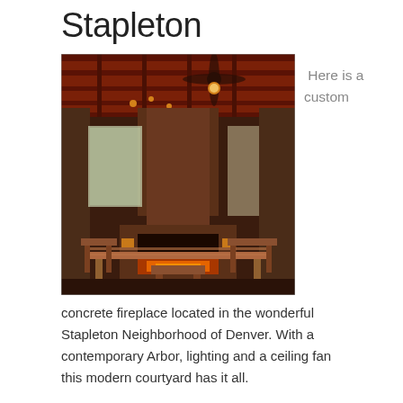Stapleton
[Figure (photo): Outdoor covered patio with a custom concrete fireplace, wooden dining table and chairs, ceiling fan, and red-lit arbor ceiling. Located in the Stapleton Neighborhood of Denver.]
Here is a custom
concrete fireplace located in the wonderful Stapleton Neighborhood of Denver. With a contemporary Arbor, lighting and a ceiling fan this modern courtyard has it all.